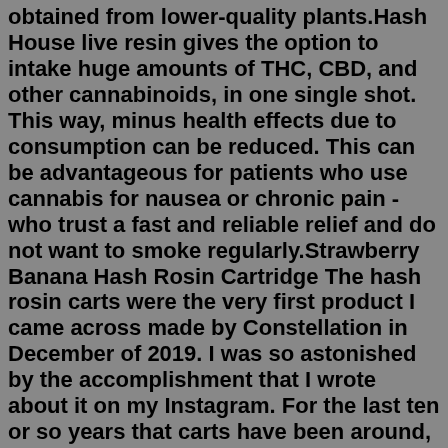obtained from lower-quality plants.Hash House live resin gives the option to intake huge amounts of THC, CBD, and other cannabinoids, in one single shot. This way, minus health effects due to consumption can be reduced. This can be advantageous for patients who use cannabis for nausea or chronic pain - who trust a fast and reliable relief and do not want to smoke regularly.Strawberry Banana Hash Rosin Cartridge The hash rosin carts were the very first product I came across made by Constellation in December of 2019. I was so astonished by the accomplishment that I wrote about it on my Instagram. For the last ten or so years that carts have been around, they have usually been adulterated with non-cannabis fluids ...Hash House. Cookie Chem - Solventless Rosin Pod. $80.00- $550.00. Quick View. Hash House. Melon Musk - Solventless Rosin Pod. $80.00- $550.00 Home / Cartridges / Hashtronauts Hash Rosin Disposable Pen (.5g) $ 70.00 – $ 600.00. It is a pure, all-natural extract of our craft cannabis flowers with all of the same benefits of live hash rosin, now in the convenience of a